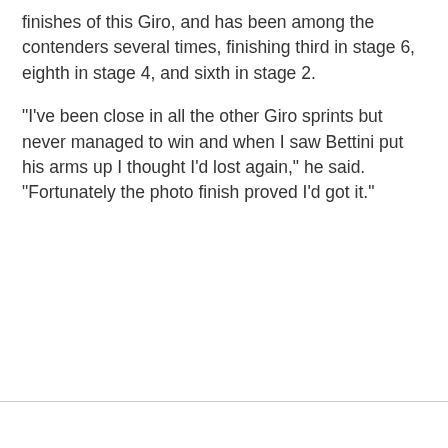finishes of this Giro, and has been among the contenders several times, finishing third in stage 6, eighth in stage 4, and sixth in stage 2.
"I've been close in all the other Giro sprints but never managed to win and when I saw Bettini put his arms up I thought I'd lost again," he said. "Fortunately the photo finish proved I'd got it."